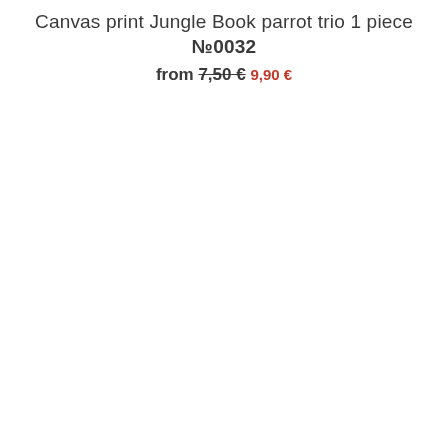Canvas print Jungle Book parrot trio 1 piece №0032
from 7,50 € 9,90 €